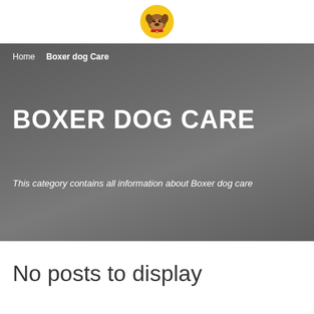[Figure (logo): Circular logo with yellow/gold background showing a cartoon boxer dog face with a red collar]
Home  Boxer dog Care
BOXER DOG CARE
This category contains all information about Boxer dog care
No posts to display